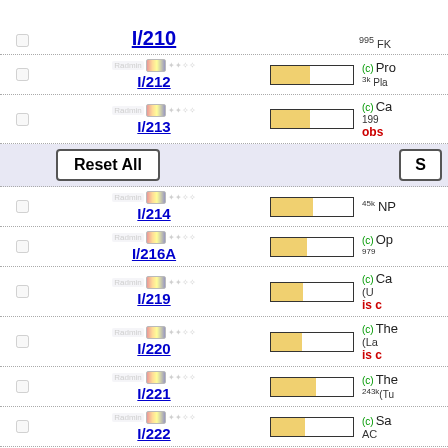I/210
I/212
I/213
Reset All | S
I/214 - 45k NP
I/216A - (c) 979 Op
I/219 - (c) Ca (Un is c
I/220 - (c) The (La is c
I/221 - (c) 243k The (Tu
I/222 - (c) Sa AC